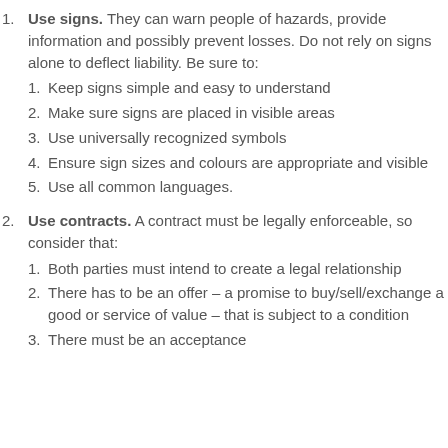Use signs. They can warn people of hazards, provide information and possibly prevent losses. Do not rely on signs alone to deflect liability. Be sure to:
Use contracts. A contract must be legally enforceable, so consider that: